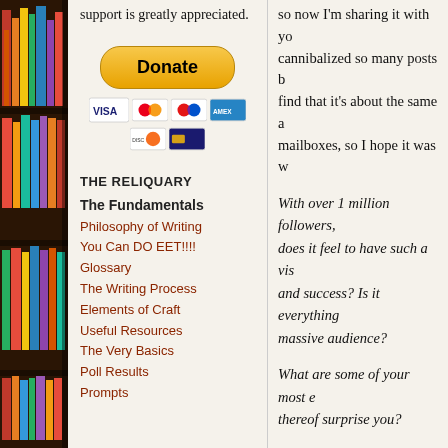[Figure (photo): Bookshelf with colorful books, decorative left sidebar]
support is greatly appreciated.
[Figure (other): PayPal Donate button with payment icons (Visa, Mastercard, etc.)]
THE RELIQUARY
The Fundamentals
Philosophy of Writing
You Can DO EET!!!!
Glossary
The Writing Process
Elements of Craft
Useful Resources
The Very Basics
Poll Results
Prompts
so now I'm sharing it with you. I've cannibalized so many posts but you'll find that it's about the same as what mailboxes, so I hope it was w
With over 1 million followers, how does it feel to have such a visibility and success? Is it everything massive audience?
What are some of your most e thereof surprise you?
Speaking of which, do you ha do? And speaking more broa fellow writers? (again feel fr
What do you think about soc
And many more….
For now, Tom Neil and Off T link and read it over there!